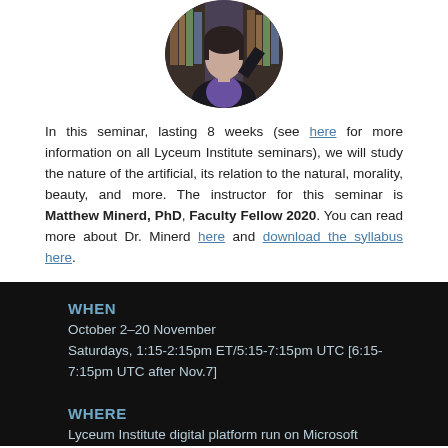[Figure (photo): Circular headshot photo of a person in a dark blazer and purple shirt, with bookshelves in the background]
In this seminar, lasting 8 weeks (see here for more information on all Lyceum Institute seminars), we will study the nature of the artificial, its relation to the natural, morality, beauty, and more. The instructor for this seminar is Matthew Minerd, PhD, Faculty Fellow 2020. You can read more about Dr. Minerd here and download the syllabus here.
WHEN
October 2–20 November
Saturdays, 1:15-2:15pm ET/5:15-7:15pm UTC [6:15-7:15pm UTC after Nov.7]
WHERE
Lyceum Institute digital platform run on Microsoft